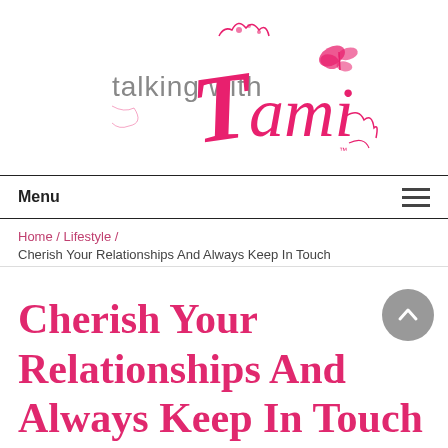[Figure (logo): Talking with Tami logo: 'talking with' in grey sans-serif, 'Tami' in large pink cursive script with decorative flourishes and a butterfly ornament]
Menu
Home / Lifestyle / Cherish Your Relationships And Always Keep In Touch
Cherish Your Relationships And Always Keep In Touch